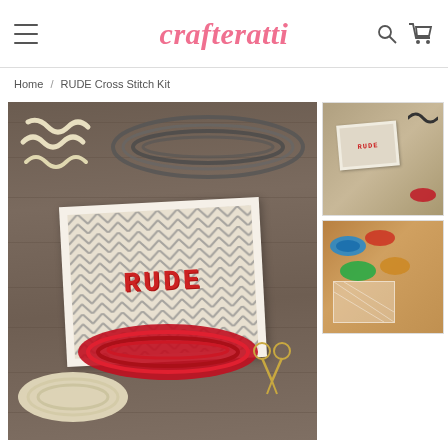crafteratti (navigation header with hamburger menu, search, and cart icons)
Home / RUDE Cross Stitch Kit
[Figure (photo): Main product photo showing a RUDE cross stitch kit laid on a wooden surface. A printed card with diagonal chevron/herringbone pattern background and the word RUDE in red cross stitch letters is visible, surrounded by skeins of yarn in cream/ivory, red, and dark grey colors, plus a pair of gold scissors.]
[Figure (photo): Thumbnail photo 1: Small image of the RUDE cross stitch kit from a closer angle showing the card with RUDE text and some yarn.]
[Figure (photo): Thumbnail photo 2: Small image showing colorful craft supplies including yarn and fabric.]